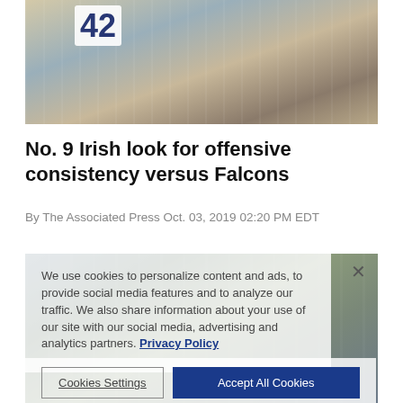[Figure (photo): Football action photo showing player number 42 in white Notre Dame uniform running, with a player in red uniform visible on right side]
No. 9 Irish look for offensive consistency versus Falcons
By The Associated Press Oct. 03, 2019 02:20 PM EDT
[Figure (photo): Football action photo showing Notre Dame players including number 40 and number 22 on field, partially covered by a cookie consent overlay]
We use cookies to personalize content and ads, to provide social media features and to analyze our traffic. We also share information about your use of our site with our social media, advertising and analytics partners. Privacy Policy
Cookies Settings  Accept All Cookies